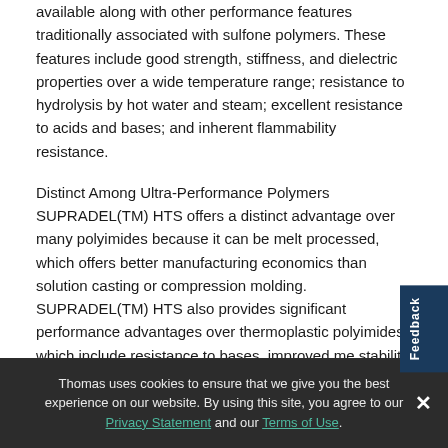available along with other performance features traditionally associated with sulfone polymers. These features include good strength, stiffness, and dielectric properties over a wide temperature range; resistance to hydrolysis by hot water and steam; excellent resistance to acids and bases; and inherent flammability resistance.
Distinct Among Ultra-Performance Polymers
SUPRADEL(TM) HTS offers a distinct advantage over many polyimides because it can be melt processed, which offers better manufacturing economics than solution casting or compression molding. SUPRADEL(TM) HTS also provides significant performance advantages over thermoplastic polyimides, which include resistance to bases, improved me stability during fabrication, and a robust amorphous chemical structure that is capable of holding tight dimensional
Thomas uses cookies to ensure that we give you the best experience on our website. By using this site, you agree to our Privacy Statement and our Terms of Use.